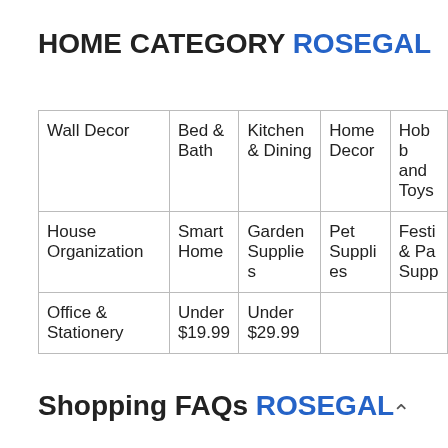HOME CATEGORY ROSEGAL
| Wall Decor | Bed & Bath | Kitchen & Dining | Home Decor | Hobbies and Toys |
| House Organization | Smart Home | Garden Supplies | Pet Supplies | Festi & Pa Supp |
| Office & Stationery | Under $19.99 | Under $29.99 |  |  |
Shopping FAQs ROSEGAL